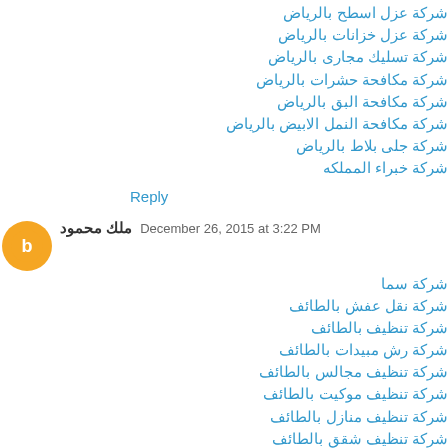شركة عزل اسطح بالرياض
شركة عزل خزانات بالرياض
شركة تسليك مجاری بالرياض
شركة مكافحة حشرات بالرياض
شركة مكافحة البق بالرياض
شركة مكافحة النمل الابيض بالرياض
شركة جلى بلاط بالرياض
شركة خبراء المملكه
Reply
ملك محمود   December 26, 2015 at 3:22 PM
شركة سما
شركة نقل عفش بالطائف
شركة تنظيف بالطائف
شركة رش مبيدات بالطائف
شركة تنظيف مجالس بالطائف
شركة تنظيف موكيت بالطائف
شركة تنظيف منازل بالطائف
شركة تنظيف شقق بالطائف
شركة تنظيف خزانات بالطائف